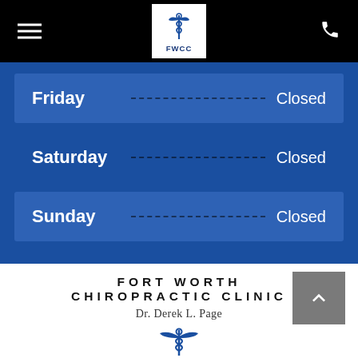[Figure (screenshot): Mobile website header/navigation bar with hamburger menu, FWCC logo, and phone icon on black background]
| Day |  | Status |
| --- | --- | --- |
| Friday | ... | Closed |
| Saturday | ... | Closed |
| Sunday | ... | Closed |
[Figure (logo): Back to top button with upward chevron arrow on gray background]
FORT WORTH CHIROPRACTIC CLINIC
Dr. Derek L. Page
[Figure (logo): FWCC caduceus logo in blue at bottom of page]